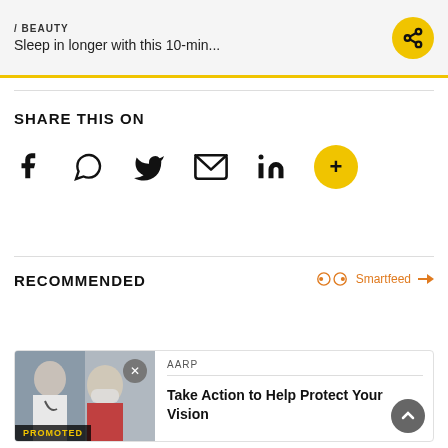/ BEAUTY
Sleep in longer with this 10-min...
SHARE THIS ON
[Figure (infographic): Social sharing icons: Facebook, WhatsApp, Twitter, Email, LinkedIn, and a yellow plus-circle button]
RECOMMENDED
Smartfeed
[Figure (photo): Doctor examining elderly patient's eye, with a close-up image. PROMOTED label at bottom.]
AARP
Take Action to Help Protect Your Vision